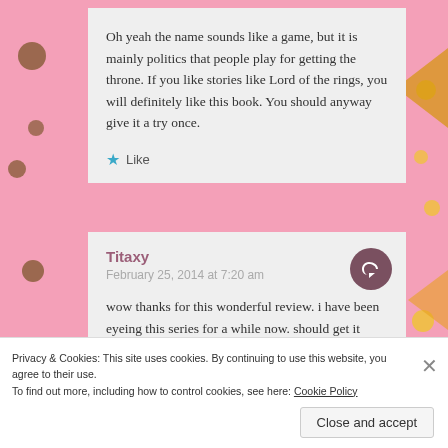Oh yeah the name sounds like a game, but it is mainly politics that people play for getting the throne. If you like stories like Lord of the rings, you will definitely like this book. You should anyway give it a try once.
★ Like
Titaxy
February 25, 2014 at 7:20 am
wow thanks for this wonderful review. i have been eyeing this series for a while now. should get it soon
Privacy & Cookies: This site uses cookies. By continuing to use this website, you agree to their use.
To find out more, including how to control cookies, see here: Cookie Policy
Close and accept